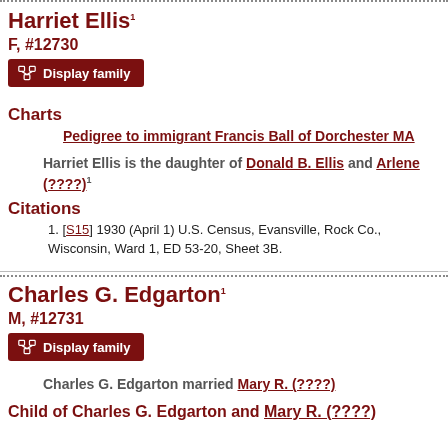Harriet Ellis¹ F, #12730
Display family
Charts
Pedigree to immigrant Francis Ball of Dorchester MA
Harriet Ellis is the daughter of Donald B. Ellis and Arlene (????)¹
Citations
[S15] 1930 (April 1) U.S. Census, Evansville, Rock Co., Wisconsin, Ward 1, ED 53-20, Sheet 3B.
Charles G. Edgarton¹ M, #12731
Display family
Charles G. Edgarton married Mary R. (????)
Child of Charles G. Edgarton and Mary R. (????)